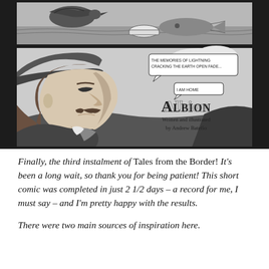[Figure (illustration): Two-panel comic strip. Top panel shows a bird and a white bowl/dish near water with fish. Bottom panel shows a man with a hat looking upward in profile, with speech bubbles reading 'THE MEMORIES OF LIGHTNING CRACKING THE EARTH OPEN FADE...' and 'I AM HOME'. The title 'Albion Written and illustrated by Andrew Batefio' appears in decorative text on the right side of the bottom panel.]
Finally, the third instalment of Tales from the Border! It's been a long wait, so thank you for being patient! This short comic was completed in just 2 1/2 days – a record for me, I must say – and I'm pretty happy with the results.
There were two main sources of inspiration here.